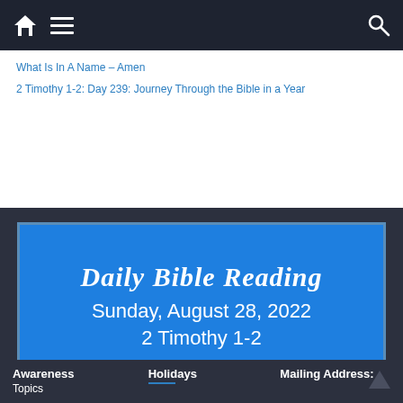Navigation bar with home, menu, and search icons
What Is In A Name – Amen
2 Timothy 1-2: Day 239: Journey Through the Bible in a Year
[Figure (infographic): Blue box with 'Daily Bible Reading', 'Sunday, August 28, 2022', '2 Timothy 1-2' on dark background]
Awareness Topics | Holidays | Mailing Address: